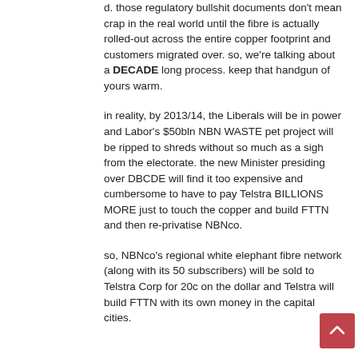d. those regulatory bullshit documents don't mean crap in the real world until the fibre is actually rolled-out across the entire copper footprint and customers migrated over. so, we're talking about a DECADE long process. keep that handgun of yours warm.
in reality, by 2013/14, the Liberals will be in power and Labor's $50bln NBN WASTE pet project will be ripped to shreds without so much as a sigh from the electorate. the new Minister presiding over DBCDE will find it too expensive and cumbersome to have to pay Telstra BILLIONS MORE just to touch the copper and build FTTN and then re-privatise NBNco.
so, NBNco's regional white elephant fibre network (along with its 50 subscribers) will be sold to Telstra Corp for 20c on the dollar and Telstra will build FTTN with its own money in the capital cities.